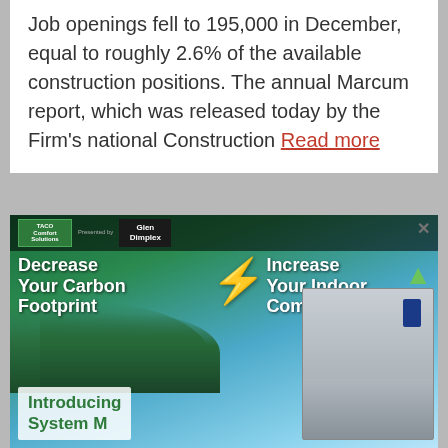Job openings fell to 195,000 in December, equal to roughly 2.6% of the available construction positions. The annual Marcum report, which was released today by the Firm's national Construction Read more
[Figure (illustration): Advertisement for Glen Dimplex 'System M' heat pump. Green and white text on a mountain/forest background reads: 'Decrease Your Carbon Footprint' and 'Increase Your Indoor Comfort'. Bottom left shows 'Introducing System M' text box. Logo of Taco Comfort Solutions and Glen Dimplex shown at top.]